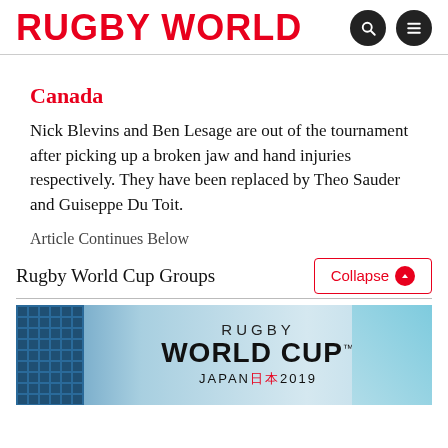RUGBY WORLD
Canada
Nick Blevins and Ben Lesage are out of the tournament after picking up a broken jaw and hand injuries respectively. They have been replaced by Theo Sauder and Guiseppe Du Toit.
Article Continues Below
Rugby World Cup Groups
[Figure (screenshot): Rugby World Cup Japan 2019 advertisement banner with blue geometric pattern on left and teal gradient on right]